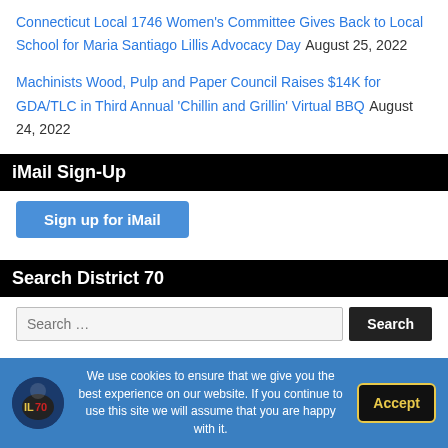Connecticut Local 1746 Women's Committee Gives Back to Local School for Maria Santiago Lillis Advocacy Day August 25, 2022
Machinists Wood, Pulp and Paper Council Raises $14K for GDA/TLC in Third Annual 'Chillin and Grillin' Virtual BBQ August 24, 2022
iMail Sign-Up
Sign up for iMail
Search District 70
Search …
Catagories
We use cookies to ensure that we give you the best experience on our website. If you continue to use this site we will assume that you are happy with it.